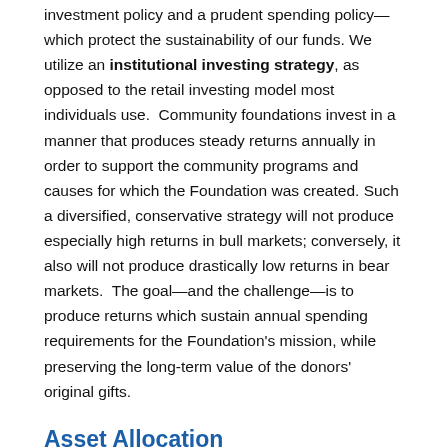investment policy and a prudent spending policy—which protect the sustainability of our funds. We utilize an institutional investing strategy, as opposed to the retail investing model most individuals use. Community foundations invest in a manner that produces steady returns annually in order to support the community programs and causes for which the Foundation was created. Such a diversified, conservative strategy will not produce especially high returns in bull markets; conversely, it also will not produce drastically low returns in bear markets. The goal—and the challenge—is to produce returns which sustain annual spending requirements for the Foundation's mission, while preserving the long-term value of the donors' original gifts.
Asset Allocation
Our investment strategy includes diversity of...